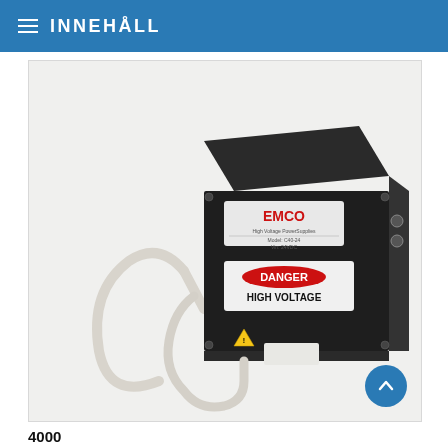INNEHÅLL
[Figure (photo): An EMCO high voltage power supply unit — a black rectangular box with an EMCO logo label and a DANGER HIGH VOLTAGE warning sticker on the front face, with two white cables emerging from the bottom including a connector, set against a light grey background.]
4000